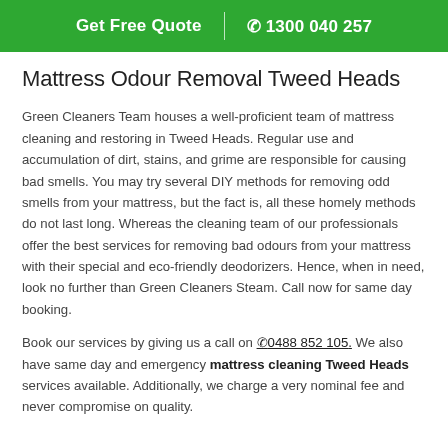Get Free Quote | 1300 040 257
Mattress Odour Removal Tweed Heads
Green Cleaners Team houses a well-proficient team of mattress cleaning and restoring in Tweed Heads. Regular use and accumulation of dirt, stains, and grime are responsible for causing bad smells. You may try several DIY methods for removing odd smells from your mattress, but the fact is, all these homely methods do not last long. Whereas the cleaning team of our professionals offer the best services for removing bad odours from your mattress with their special and eco-friendly deodorizers. Hence, when in need, look no further than Green Cleaners Steam. Call now for same day booking.
Book our services by giving us a call on 0488 852 105. We also have same day and emergency mattress cleaning Tweed Heads services available. Additionally, we charge a very nominal fee and never compromise on quality.